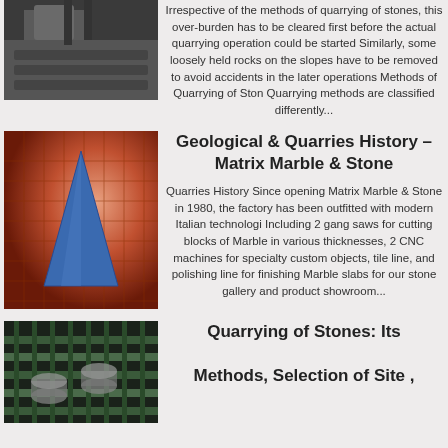[Figure (photo): Dark industrial/quarrying equipment photo at top left]
Irrespective of the methods of quarrying of stones, this over-burden has to be cleared first before the actual quarrying operation could be started Similarly, some loosely held rocks on the slopes have to be removed to avoid accidents in the later operations Methods of Quarrying of Ston Quarrying methods are classified differently...
[Figure (photo): Reddish-lit photo showing a blue pyramid/triangle shape on a mesh/grid background]
Geological & Quarries History – Matrix Marble & Stone
Quarries History Since opening Matrix Marble & Stone in 1980, the factory has been outfitted with modern Italian technologi Including 2 gang saws for cutting blocks of Marble in various thicknesses, 2 CNC machines for specialty custom objects, tile line, and polishing line for finishing Marble slabs for our stone gallery and product showroom...
[Figure (photo): Dark photo showing industrial machinery/rails, likely stone cutting equipment]
Quarrying of Stones: Its Methods, Selection of Site ,